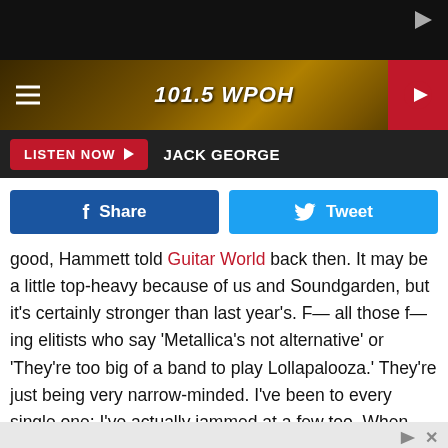[Figure (screenshot): Black ad banner at top with play/ad icon on right]
[Figure (screenshot): 101.5 WPOH radio station header bar with hamburger menu, station name, and red play button]
[Figure (screenshot): Listen Now button bar with JACK GEORGE DJ name]
[Figure (screenshot): Facebook Share and Twitter Tweet buttons]
good, Hammett told Guitar World back then. It may be a little top-heavy because of us and Soundgarden, but it's certainly stronger than last year's. F— all those f—ing elitists who say 'Metallica's not alternative' or 'They're too big of a band to play Lollapalooza.' They're just being very narrow-minded. I've been to every single one; I've actually jammed at a few too. When Ministry was out, I played with them a few times, and I did the same with Primus. I've f—ing loved Sounde